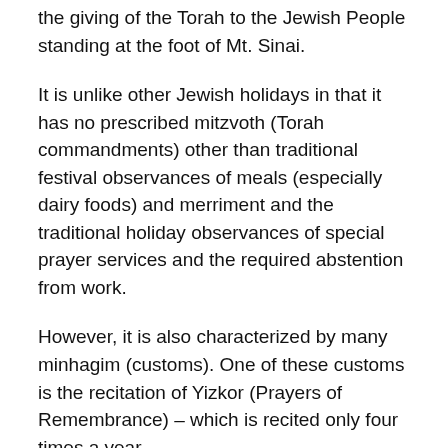the giving of the Torah to the Jewish People standing at the foot of Mt. Sinai.
It is unlike other Jewish holidays in that it has no prescribed mitzvoth (Torah commandments) other than traditional festival observances of meals (especially dairy foods) and merriment and the traditional holiday observances of special prayer services and the required abstention from work.
However, it is also characterized by many minhagim (customs). One of these customs is the recitation of Yizkor (Prayers of Remembrance) – which is recited only four times a year.
My dear friend and colleague,